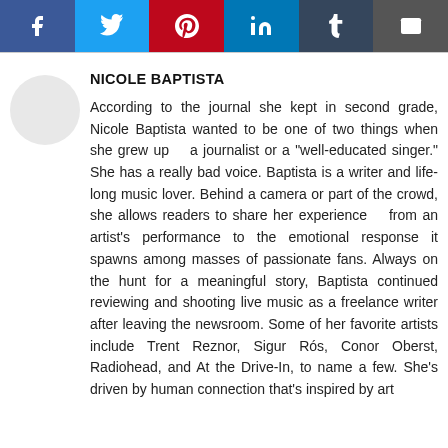[Figure (infographic): Social share bar with 6 buttons: Facebook (blue), Twitter (light blue), Pinterest (red), LinkedIn (blue), Tumblr (dark blue-grey), Email (dark grey)]
NICOLE BAPTISTA
According to the journal she kept in second grade, Nicole Baptista wanted to be one of two things when she grew up — a journalist or a "well-educated singer." She has a really bad voice. Baptista is a writer and life-long music lover. Behind a camera or part of the crowd, she allows readers to share her experience — from an artist's performance to the emotional response it spawns among masses of passionate fans. Always on the hunt for a meaningful story, Baptista continued reviewing and shooting live music as a freelance writer after leaving the newsroom. Some of her favorite artists include Trent Reznor, Sigur Rós, Conor Oberst, Radiohead, and At the Drive-In, to name a few. She's driven by human connection that's inspired by art